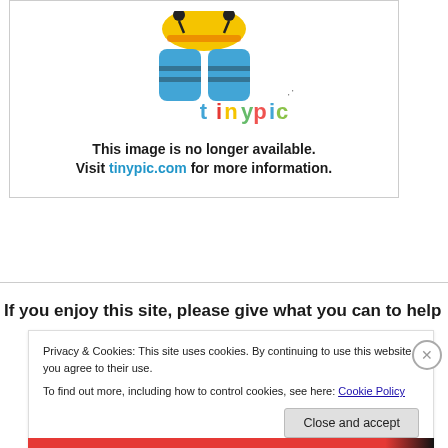[Figure (logo): Tinypic mascot bee character with blue overalls and yellow/orange head at top, with colorful 'tinypic' logo text below it. White background with gray border box.]
This image is no longer available.
Visit tinypic.com for more information.
If you enjoy this site, please give what you can to help
Privacy & Cookies: This site uses cookies. By continuing to use this website, you agree to their use.
To find out more, including how to control cookies, see here: Cookie Policy
Close and accept